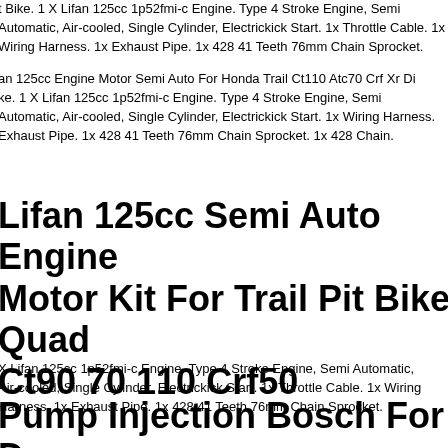t Bike. 1 X Lifan 125cc 1p52fmi-c Engine. Type 4 Stroke Engine, Semi Automatic, Air-cooled, Single Cylinder, Electrickick Start. 1x Throttle Cable. 1x Wiring Harness. 1x Exhaust Pipe. 1x 428 41 Teeth 76mm Chain Sprocket.
an 125cc Engine Motor Semi Auto For Honda Trail Ct110 Atc70 Crf Xr Bike. 1 X Lifan 125cc 1p52fmi-c Engine. Type 4 Stroke Engine, Semi Automatic, Air-cooled, Single Cylinder, Electrickick Start. 1x Wiring Harness. 1x Exhaust Pipe. 1x 428 41 Teeth 76mm Chain Sprocket. 1x 428 Chain.
Lifan 125cc Semi Auto Engine Motor Kit For Trail Pit Bike Quad Ct90 70 110 Crf50
X Lifan 125cc 1p52fmi-c Engine. Type 4 Stroke Engine, Semi Automatic, Air-cooled, Single Cylinder, Electrickick Start. 1x Throttle Cable. 1x Wiring Harness. 1x Exhaust Pipe. 1x 428 41 Teeth 76mm Chain Sprocket.
Pump Injection Bosch For Dcec Cummins Engine Parts 4bta3.9-